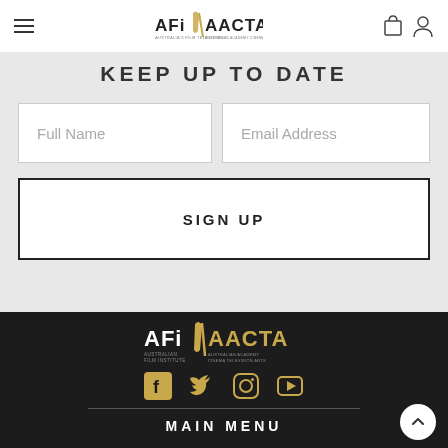AFI | AACTA — navigation header with hamburger menu, logo, bag and user icons
KEEP UP TO DATE
Full Name (input field placeholder)
Email Address (input field placeholder)
SIGN UP
[Figure (logo): AFI AACTA logo — Australian Film Institute / Australian Academy Cinema Television Arts, gold and white on dark background]
[Figure (infographic): Social media icons row: Facebook, Twitter, Instagram, YouTube — gold colored on dark background]
MAIN MENU